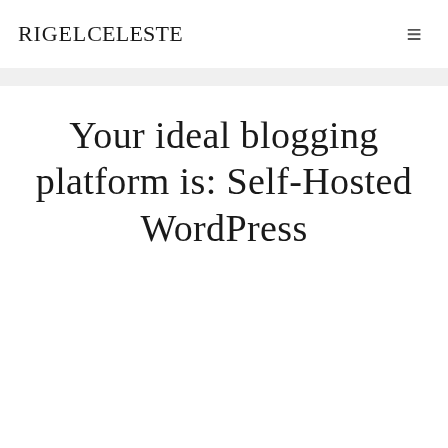RigelCeleste
Your ideal blogging platform is: Self-Hosted WordPress